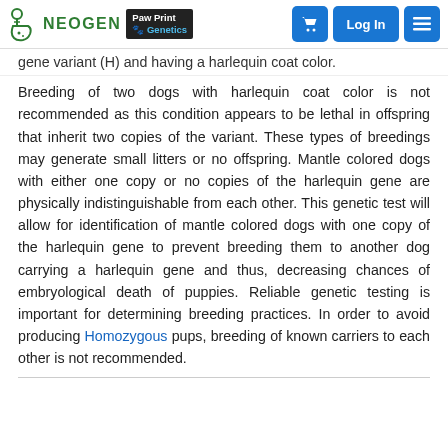Neogen Paw Print Genetics — navigation header with cart, Log In, and menu buttons
gene variant (H) and having a harlequin coat color. Breeding of two dogs with harlequin coat color is not recommended as this condition appears to be lethal in offspring that inherit two copies of the variant. These types of breedings may generate small litters or no offspring. Mantle colored dogs with either one copy or no copies of the harlequin gene are physically indistinguishable from each other. This genetic test will allow for identification of mantle colored dogs with one copy of the harlequin gene to prevent breeding them to another dog carrying a harlequin gene and thus, decreasing chances of embryological death of puppies. Reliable genetic testing is important for determining breeding practices. In order to avoid producing Homozygous pups, breeding of known carriers to each other is not recommended.